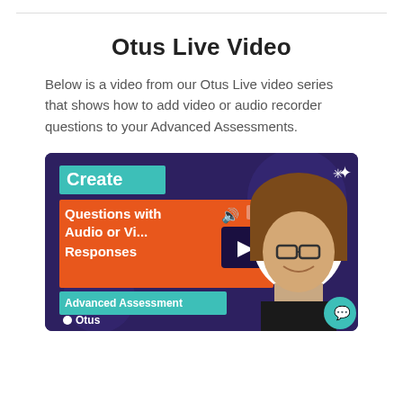Otus Live Video
Below is a video from our Otus Live video series that shows how to add video or audio recorder questions to your Advanced Assessments.
[Figure (screenshot): Video thumbnail for Otus Live video titled 'Create Questions with Audio or Video Responses - Advanced Assessment' featuring a person with glasses and brown hair smiling, on a purple background with teal and orange colored text blocks and a play button.]